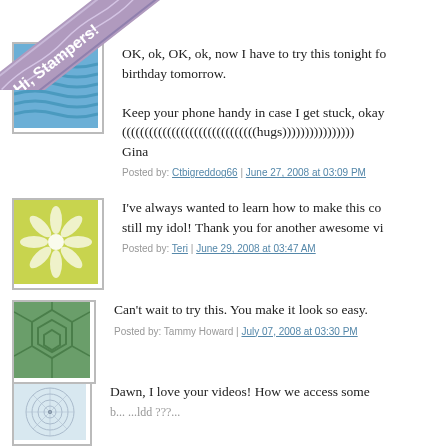[Figure (illustration): Purple/mauve ribbon banner diagonally across top-left corner with text 'Hi, Stampers!' in white bold font, with wavy decorative lines]
[Figure (illustration): Avatar icon with blue wavy horizontal lines pattern on light blue background]
OK, ok, OK, ok, now I have to try this tonight fo birthday tomorrow.

Keep your phone handy in case I get stuck, okay (((((((((((((((((((((((((((((((hugs))))))))))))))))))
Gina
Posted by: Ctbigreddog66 | June 27, 2008 at 03:09 PM
[Figure (illustration): Avatar icon with white flower/snowflake pattern on yellow-green background]
I've always wanted to learn how to make this co still my idol! Thank you for another awesome vi
Posted by: Teri | June 29, 2008 at 03:47 AM
[Figure (illustration): Avatar icon with hexagonal cell/honeycomb geometric pattern on green background]
Can't wait to try this. You make it look so easy.
Posted by: Tammy Howard | July 07, 2008 at 03:30 PM
[Figure (illustration): Avatar icon with concentric circles and radial lines forming a spiral/mandala on light blue-grey background]
Dawn, I love your videos! How we access some b... ...ldd ???...